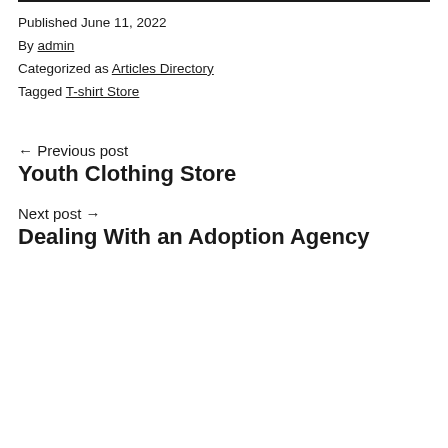Published June 11, 2022
By admin
Categorized as Articles Directory
Tagged T-shirt Store
← Previous post
Youth Clothing Store
Next post →
Dealing With an Adoption Agency